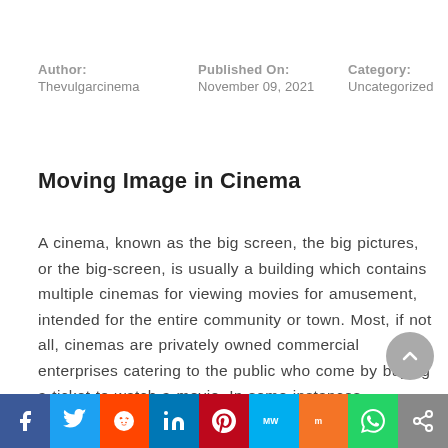Author: Thevulgarcinema | Published On: November 09, 2021 | Category: Uncategorized
Moving Image in Cinema
A cinema, known as the big screen, the big pictures, or the big-screen, is usually a building which contains multiple cinemas for viewing movies for amusement, intended for the entire community or town. Most, if not all, cinemas are privately owned commercial enterprises catering to the public who come by buying a ticket to watch a movie. In some instances, government funds
[Figure (infographic): Social media share bar with icons: Facebook, Twitter, Reddit, LinkedIn, Pinterest, MeWe, Mix, WhatsApp, Share]